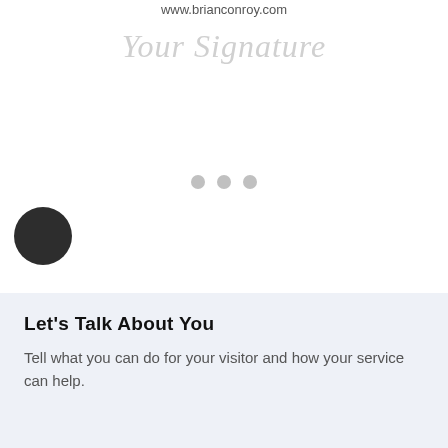www.brianconroy.com
[Figure (illustration): Cursive script placeholder text reading 'Your Signature' in light gray italic font]
[Figure (other): Three small gray dots arranged horizontally, acting as a page indicator or decorative separator]
[Figure (other): A large dark/black filled circle positioned on the left side of the page]
Let's Talk About You
Tell what you can do for your visitor and how your service can help.